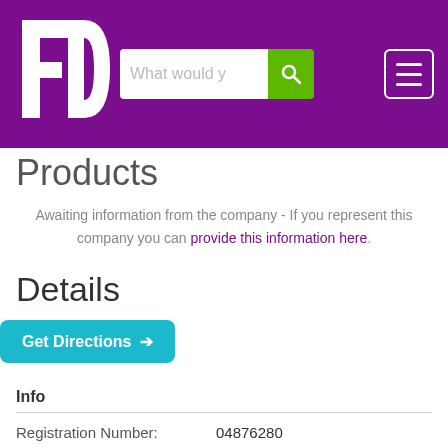[Figure (logo): FD logo in white on purple background with search bar and hamburger menu]
Products
Awaiting information from the company - If you represent this company you can provide this information here.
Details
Get Directions →
Info
| Registration Number: | 04876280 |
| --- | --- |